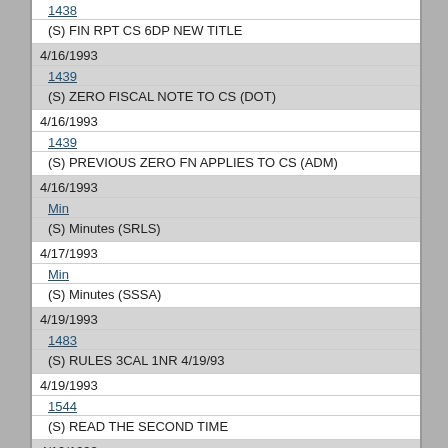1438
(S) FIN RPT CS 6DP NEW TITLE
4/16/1993
1439
(S) ZERO FISCAL NOTE TO CS (DOT)
4/16/1993
1439
(S) PREVIOUS ZERO FN APPLIES TO CS (ADM)
4/16/1993
Min
(S) Minutes (SRLS)
4/17/1993
Min
(S) Minutes (SSSA)
4/19/1993
1483
(S) RULES 3CAL 1NR 4/19/93
4/19/1993
1544
(S) READ THE SECOND TIME
4/19/1993